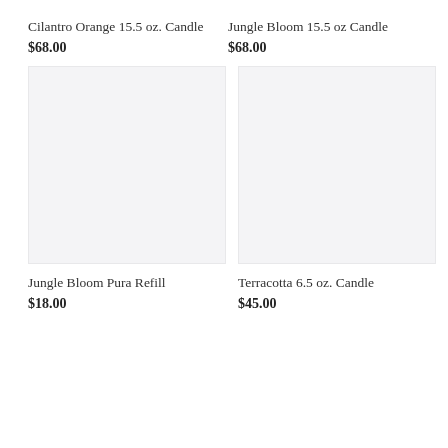Cilantro Orange 15.5 oz. Candle
$68.00
Jungle Bloom 15.5 oz Candle
$68.00
[Figure (photo): Product image placeholder for Jungle Bloom Pura Refill]
[Figure (photo): Product image placeholder for Terracotta 6.5 oz. Candle]
Jungle Bloom Pura Refill
$18.00
Terracotta 6.5 oz. Candle
$45.00